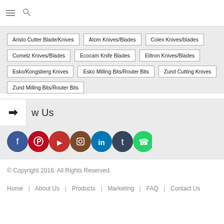≡ 🔍
Aristo Cutter Blade/Knives
Atom Knives/Blades
Colex Knives/blades
Comelz Knives/Blades
Ecocam Knife Blades
Elitron Knives/Blades
Esko/Kongsberg Knives
Esko Milling Bits/Router Bits
Zund Cutting Knives
Zund Milling Bits/Router Bits
❯ w Us
[Figure (infographic): Social media icons: Facebook (blue), Pinterest (red), YouTube (red), Instagram (brown), LinkedIn (blue), Tumblr (dark blue), WhatsApp (green)]
© Copyright 2016. All Rights Reserved.
Home | About Us | Products | Marketing | FAQ | Contact Us